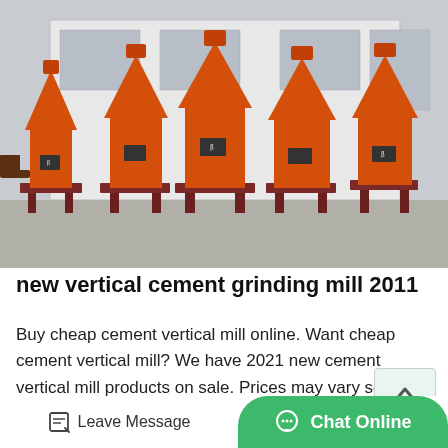[Figure (photo): Multiple large orange industrial vertical cement grinding mills parked in rows outside a factory building. The machines are heavy industrial equipment painted orange with dark red bases, featuring conical top sections and cylindrical bodies with manufacturer plaques.]
new vertical cement grinding mill 2011
Buy cheap cement vertical mill online. Want cheap cement vertical mill? We have 2021 new cement vertical mill products on sale. Prices may vary so we advise you do a search for Grinding Machi...